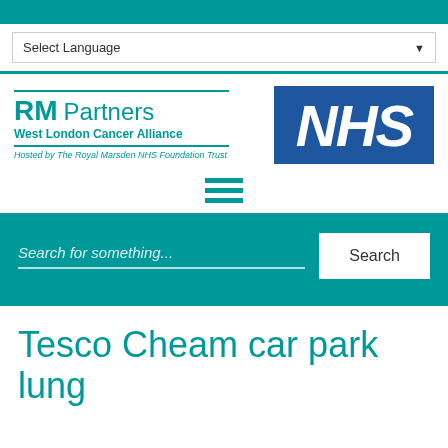Select Language
[Figure (logo): RM Partners West London Cancer Alliance - Hosted by The Royal Marsden NHS Foundation Trust]
[Figure (logo): NHS logo - blue background with white italic NHS text]
[Figure (other): Hamburger menu icon (three horizontal teal lines)]
Search for something...
Search
Tesco Cheam car park lung